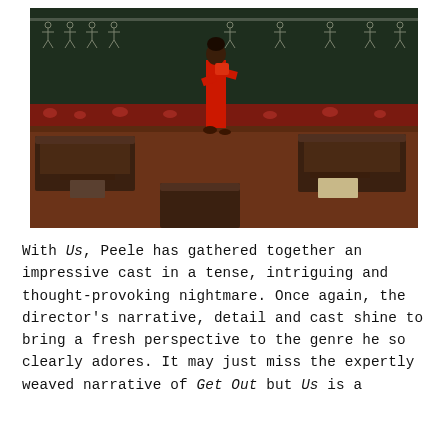[Figure (photo): A person dressed in a red jumpsuit stands in a darkened classroom in front of a chalkboard. The chalkboard has chalk drawings of stick figures along the top. The lower wall has red handprint art. Empty wooden school desks are visible in the foreground.]
With Us, Peele has gathered together an impressive cast in a tense, intriguing and thought-provoking nightmare. Once again, the director's narrative, detail and cast shine to bring a fresh perspective to the genre he so clearly adores. It may just miss the expertly weaved narrative of Get Out but Us is a